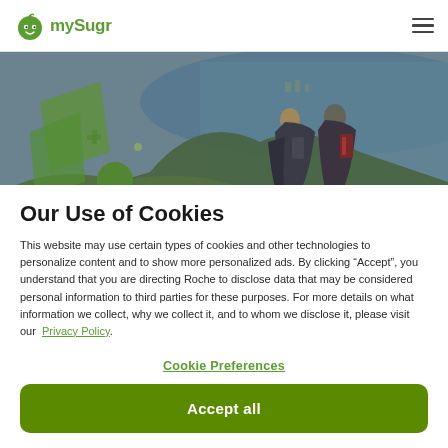mySugr
[Figure (photo): Two people with backpacks sitting looking at a scenic lake and landscape view from a vantage point, with green hexagonal logo decorations overlaid on the left side of the image.]
Our Use of Cookies
This website may use certain types of cookies and other technologies to personalize content and to show more personalized ads. By clicking “Accept”, you understand that you are directing Roche to disclose data that may be considered personal information to third parties for these purposes. For more details on what information we collect, why we collect it, and to whom we disclose it, please visit our Privacy Policy.
Cookie Preferences
Accept all